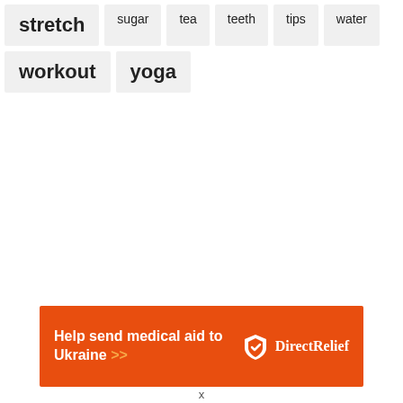stretch
sugar
tea
teeth
tips
water
workout
yoga
[Figure (infographic): Advertisement banner: orange background with white bold text 'Help send medical aid to Ukraine >>' and Direct Relief logo on the right]
x